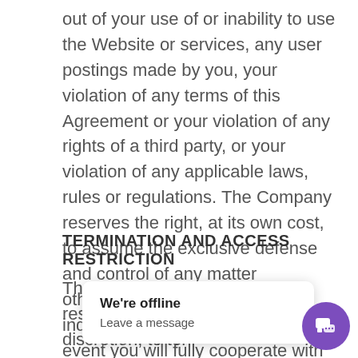out of your use of or inability to use the Website or services, any user postings made by you, your violation of any terms of this Agreement or your violation of any rights of a third party, or your violation of any applicable laws, rules or regulations. The Company reserves the right, at its own cost, to assume the exclusive defense and control of any matter otherwise subject to indemnification by you, in which event you will fully cooperate with the Company in asserting any available defenses.
TERMINATION AND ACCESS RESTRICTION
The Company res[erves the right, at its sole] discretion, to ter[minate your access...]